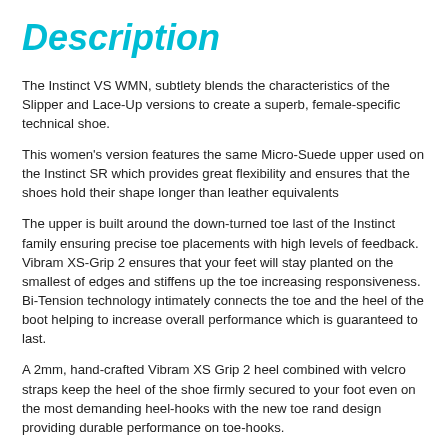Description
The Instinct VS WMN, subtlety blends the characteristics of the Slipper and Lace-Up versions to create a superb, female-specific technical shoe.
This women's version features the same Micro-Suede upper used on the Instinct SR which provides great flexibility and ensures that the shoes hold their shape longer than leather equivalents
The upper is built around the down-turned toe last of the Instinct family ensuring precise toe placements with high levels of feedback. Vibram XS-Grip 2 ensures that your feet will stay planted on the smallest of edges and stiffens up the toe increasing responsiveness. Bi-Tension technology intimately connects the toe and the heel of the boot helping to increase overall performance which is guaranteed to last.
A 2mm, hand-crafted Vibram XS Grip 2 heel combined with velcro straps keep the heel of the shoe firmly secured to your foot even on the most demanding heel-hooks with the new toe rand design providing durable performance on toe-hooks.